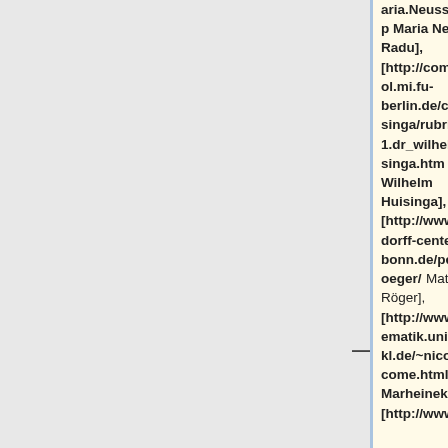aria.Neuss-Radu/contents.php Maria Neuss-Radu], [http://compphysiol.mi.fu-berlin.de/cms/huisinga/rubrik/3/3001.dr_wilhelm_huisinga.htm Wilhelm Huisinga], [http://www.hausdorff-center.uni-bonn.de/people/roeger/ Matthias Röger], [http://www.mathematik.uni-kl.de/~nicole/Welcome.html Nicole Marheineke], [http://www.math.tu